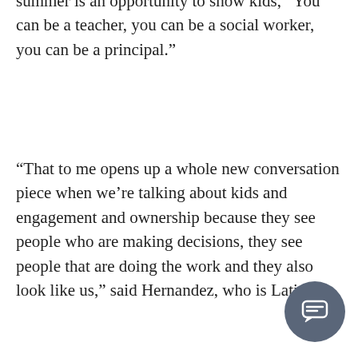summer is an opportunity to show kids, “You can be a teacher, you can be a social worker, you can be a principal.”
“That to me opens up a whole new conversation piece when we’re talking about kids and engagement and ownership because they see people who are making decisions, they see people that are doing the work and they also look like us,” said Hernandez, who is Latino.
Among the strategies human resources s…ave focused on in recent years to keep and recruit new teachers of color is making sure they are comfortable in the community.  By hiring people who grew up here, that challenge is at least partly